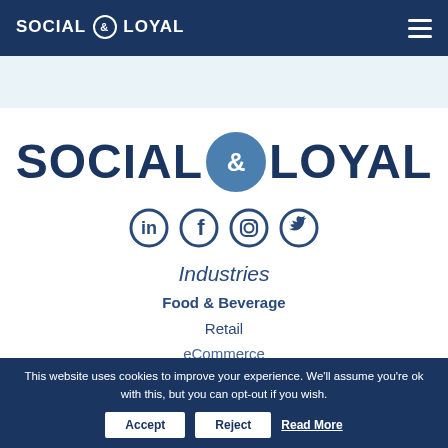SOCIAL & LOYAL
[Figure (logo): Social & Loyal large logo with social media icons (LinkedIn, Facebook, Instagram, Twitter)]
Industries
Food & Beverage
Retail
eCommerce
This website uses cookies to improve your experience. We'll assume you're ok with this, but you can opt-out if you wish. Accept Reject Read More